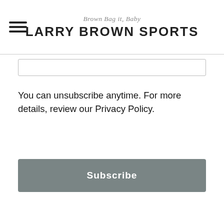Brown Bag it, Baby LARRY BROWN SPORTS
You can unsubscribe anytime. For more details, review our Privacy Policy.
Subscribe